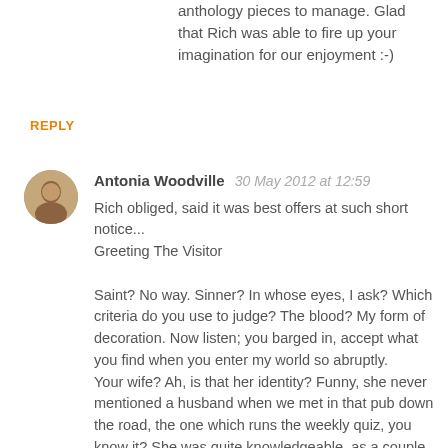anthology pieces to manage. Glad that Rich was able to fire up your imagination for our enjoyment :-)
REPLY
Antonia Woodville  30 May 2012 at 12:59
Rich obliged, said it was best offers at such short notice...
Greeting The Visitor

Saint? No way. Sinner? In whose eyes, I ask? Which criteria do you use to judge? The blood? My form of decoration. Now listen; you barged in, accept what you find when you enter my world so abruptly.
Your wife? Ah, is that her identity? Funny, she never mentioned a husband when we met in that pub down the road, the one which runs the weekly quiz, you know it? She was quite knowledgeable, as a couple we won several times.
I'm sorry to lose her but she got rather too